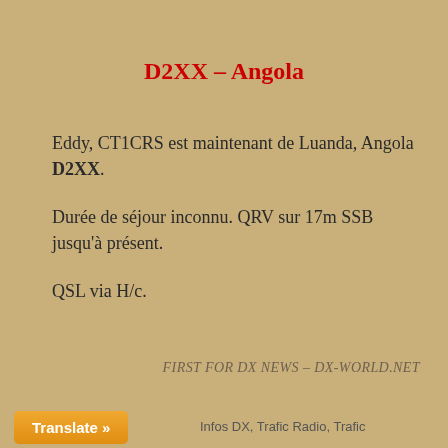D2XX – Angola
Eddy, CT1CRS est maintenant de Luanda, Angola D2XX.
Durée de séjour inconnu. QRV sur 17m SSB jusqu'à présent.
QSL via H/c.
FIRST FOR DX NEWS – DX-WORLD.NET
Translate »  Infos DX, Trafic Radio, Trafic